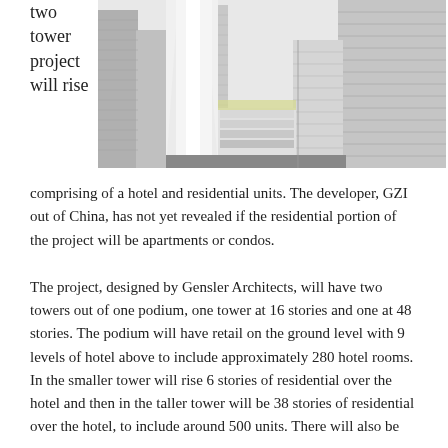two tower project will rise
[Figure (illustration): Architectural rendering of a two-tower mixed-use development project showing tall modern skyscrapers with a podium base, rendered in grayscale with surrounding buildings context.]
comprising of a hotel and residential units. The developer, GZI out of China, has not yet revealed if the residential portion of the project will be apartments or condos.
The project, designed by Gensler Architects, will have two towers out of one podium, one tower at 16 stories and one at 48 stories. The podium will have retail on the ground level with 9 levels of hotel above to include approximately 280 hotel rooms. In the smaller tower will rise 6 stories of residential over the hotel and then in the taller tower will be 38 stories of residential over the hotel, to include around 500 units. There will also be